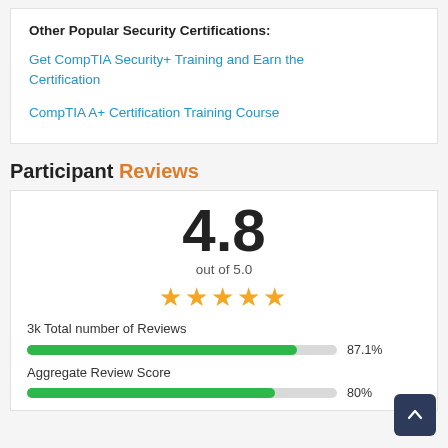Other Popular Security Certifications:
Get CompTIA Security+ Training and Earn the Certification
CompTIA A+ Certification Training Course
Participant Reviews
4.8
out of 5.0
★★★★★
3k Total number of Reviews
[Figure (bar-chart): Review score bar]
Aggregate Review Score
[Figure (bar-chart): Aggregate review score bar]